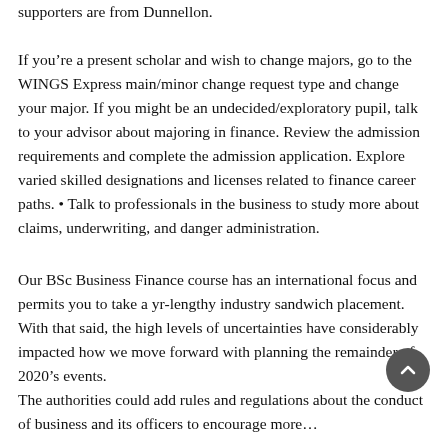supporters are from Dunnellon.
If you’re a present scholar and wish to change majors, go to the WINGS Express main/minor change request type and change your major. If you might be an undecided/exploratory pupil, talk to your advisor about majoring in finance. Review the admission requirements and complete the admission application. Explore varied skilled designations and licenses related to finance career paths. • Talk to professionals in the business to study more about claims, underwriting, and danger administration.
Our BSc Business Finance course has an international focus and permits you to take a yr-lengthy industry sandwich placement. With that said, the high levels of uncertainties have considerably impacted how we move forward with planning the remainder of 2020’s events.
The authorities could add rules and regulations about the conduct of business and its officers to encourage more…